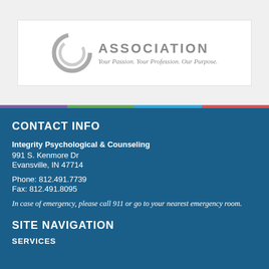[Figure (logo): Association logo with circular icon and text: ASSOCIATION, Your Passion. Your Profession. Our Purpose.]
CONTACT INFO
Integrity Psychological & Counseling
991 S. Kenmore Dr
Evansville, IN 47714
Phone: 812.491.7739
Fax: 812.491.8095
In case of emergency, please call 911 or go to your nearest emergency room.
SITE NAVIGATION
SERVICES